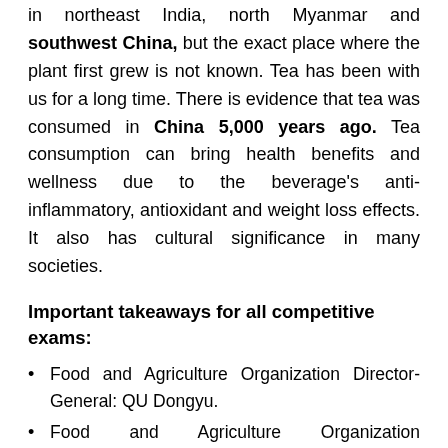in northeast India, north Myanmar and southwest China, but the exact place where the plant first grew is not known. Tea has been with us for a long time. There is evidence that tea was consumed in China 5,000 years ago. Tea consumption can bring health benefits and wellness due to the beverage's anti-inflammatory, antioxidant and weight loss effects. It also has cultural significance in many societies.
Important takeaways for all competitive exams:
Food and Agriculture Organization Director-General: QU Dongyu.
Food and Agriculture Organization Headquarters: Rome, Italy.
Food and Agriculture Organization Founded: 16 October 1945.